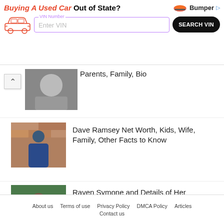[Figure (screenshot): Advertisement banner for Bumper VIN search service - Buying A Used Car Out of State? Enter VIN and Search VIN button]
Parents, Family, Bio
[Figure (photo): Photo of Dave Ramsey standing in front of brick wall]
Dave Ramsey Net Worth, Kids, Wife, Family, Other Facts to Know
[Figure (photo): Photo of Raven Symone in colorful patterned top]
Raven Symone and Details of Her Daughter, Girlfriend and Net Worth
About us   Terms of use   Privacy Policy   DMCA Policy   Articles   Contact us